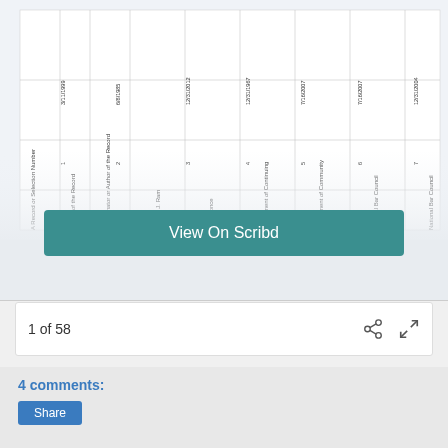[Figure (screenshot): Partial screenshot of a rotated table document with columns including Record or Selection Number, Date of the Record, Originator or Author of the Record, with entries like 3/11/1999 Deeder J. Ram, 6/8/1985 Beth Gonce, 12/31/2012 Department of Continuing, 12/31/1967 Department of Community, 7/16/2007 National Bar Council, 7/16/2007 National Bar Council, 12/31/2004 Department of Community]
View On Scribd
1 of 58
4 comments:
Share
Home
View web version
Powered by Blogger.